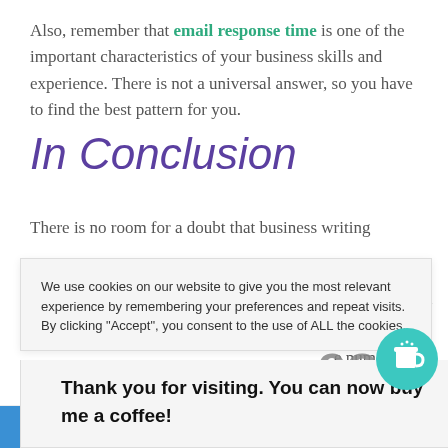Also, remember that email response time is one of the important characteristics of your business skills and experience. There is not a universal answer, so you have to find the best pattern for you.
In Conclusion
There is no room for a doubt that business writing
you should try
ou live in the
e numerous
to reach your
We use cookies on our website to give you the most relevant experience by remembering your preferences and repeat visits. By clicking “Accept”, you consent to the use of ALL the cookies.
Thank you for visiting. You can now buy me a coffee!
[Figure (illustration): Teal circular coffee cup icon]
Weе you advertisi…